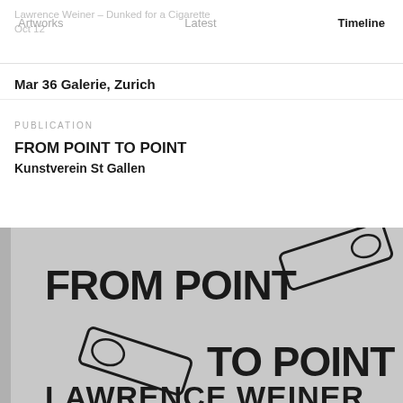Lawrence Weiner – Dunked for a Cigarette, Oct 12
Artworks   Latest   Timeline
Mar 36 Galerie, Zurich
PUBLICATION
FROM POINT TO POINT
Kunstverein St Gallen
[Figure (photo): Book cover image showing 'FROM POINT TO POINT' by Lawrence Weiner, grey cover with bold black text and graphic of a spirit level tool]